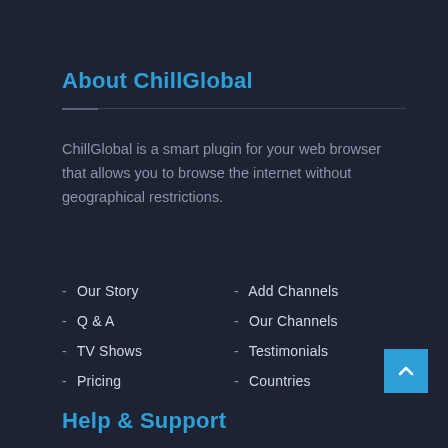About ChillGlobal
ChillGlobal is a smart plugin for your web browser that allows you to browse the internet without geographical restrictions.
- Our Story
- Q & A
- TV Shows
- Pricing
- Add Channels
- Our Channels
- Testimonials
- Countries
Help & Support